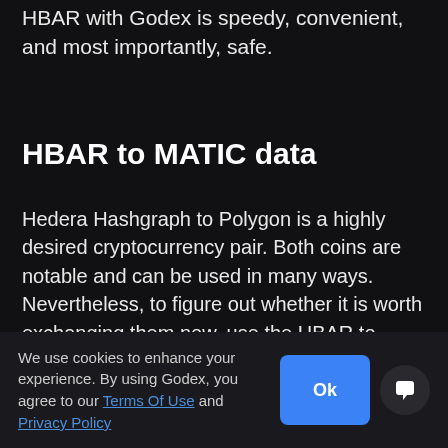HBAR with Godex is speedy, convenient, and most importantly, safe.
HBAR to MATIC data
Hedera Hashgraph to Polygon is a highly desired cryptocurrency pair. Both coins are notable and can be used in many ways. Nevertheless, to figure out whether it is worth exchanging them now, use the HBAR to MATIC calculator. It will provide live price data and you will be able to evaluate the potential gain of Hedera Hashgraph to Polygon exchange.
We use cookies to enhance your experience. By using Godex, you agree to our Terms Of Use and Privacy Policy
HBAR to MATIC real-time price ch...